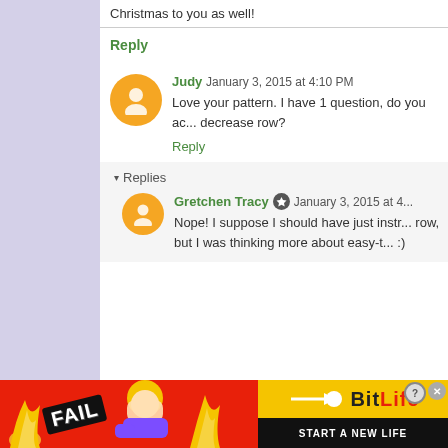Christmas to you as well!
Reply
Judy  January 3, 2015 at 4:10 PM
Love your pattern. I have 1 question, do you ac... decrease row?
Reply
▾ Replies
Gretchen Tracy  January 3, 2015 at 4...
Nope! I suppose I should have just instr... row, but I was thinking more about easy-t... :)
[Figure (illustration): BitLife advertisement banner with FAIL text, cartoon character, flames, and 'START A NEW LIFE' tagline]